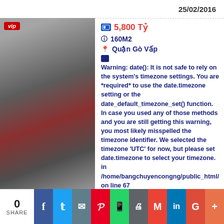25/02/2016
[Figure (photo): Blurred photo of a building exterior with text 'MCAT.VN', VIP badge in top left corner]
5,800 Tỷ
160M2
Quận Gò Vấp
Warning: date(): It is not safe to rely on the system's timezone settings. You are *required* to use the date.timezone setting or the date_default_timezone_set() function. In case you used any of those methods and you are still getting this warning, you most likely misspelled the timezone identifier. We selected the timezone 'UTC' for now, but please set date.timezone to select your timezone. in /home/bangchuyencongng/public_html/applic on line 67
09/10/2015
0 SHARE